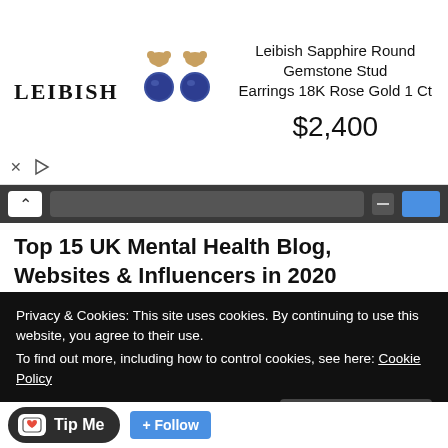[Figure (screenshot): Advertisement banner for Leibish Sapphire Round Gemstone Stud Earrings 18K Rose Gold 1 Ct priced at $2,400, with LEIBISH logo and earring image]
[Figure (screenshot): Browser navigation strip with back button, URL bar, minimize and tab controls]
Top 15 UK Mental Health Blog, Websites & Influencers in 2020
Last Updated Feb 17, 2020
8. Unwanted Life | Mental Health Blog
[Figure (logo): Unwanted Life blog logo with skull icon and UNWANTED text in red]
United Kingdom
About Blog I blog about my
Privacy & Cookies: This site uses cookies. By continuing to use this website, you agree to their use.
To find out more, including how to control cookies, see here: Cookie Policy
Close and accept
Tip Me
+ Follow
Facebook fans 95 · Twitter followers 1.9K · Instagram Followers 467 · Social Engagement 8 · Domain